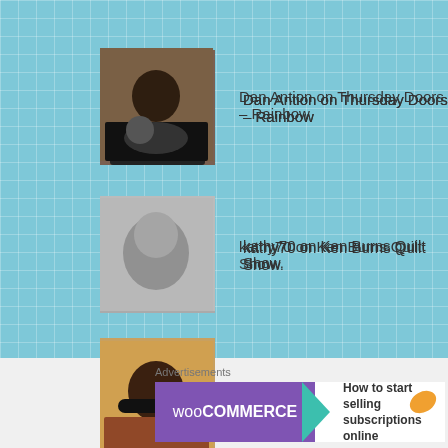Dan Antion on Thursday Doors – Rainbow
kathy70 on Ken Burns Quilt Show.
tierneycreates: a fu… on Ken Burns Quilt Show.
trkingmomoe on Ken Burns Quilt Show.
tehachap on Ken Burns Quilt Show.
Advertisements
[Figure (screenshot): WooCommerce advertisement banner: 'How to start selling subscriptions online']